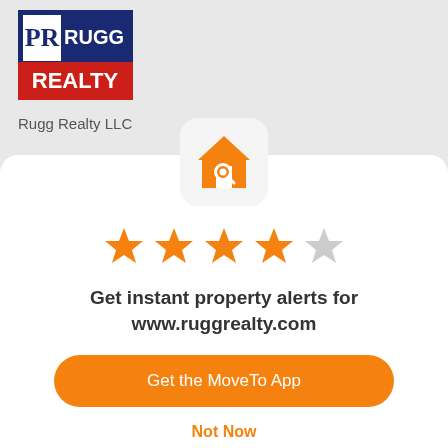[Figure (logo): Rugg Realty logo with blue and red background, white letters PR and RUGG REALTY]
Rugg Realty LLC
[Figure (illustration): App icon with orange house and magnifying glass on light gray rounded square background]
[Figure (other): 4 out of 5 stars rating — four filled orange stars and one gray star]
Get instant property alerts for www.ruggrealty.com
Get the MoveTo App
Not Now